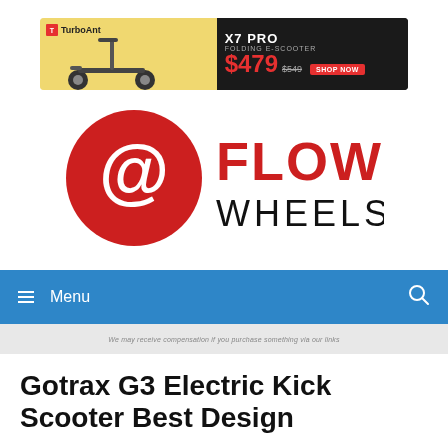[Figure (infographic): TurboAnt advertisement banner showing X7 Pro Folding E-Scooter priced at $479, original price $549, with Shop Now button]
[Figure (logo): Flow Wheels logo — red circle with spiral @ symbol and FLOW WHEELS text in bold red and black]
Menu
We may receive compensation if you purchase something via our links
Gotrax G3 Electric Kick Scooter Best Design